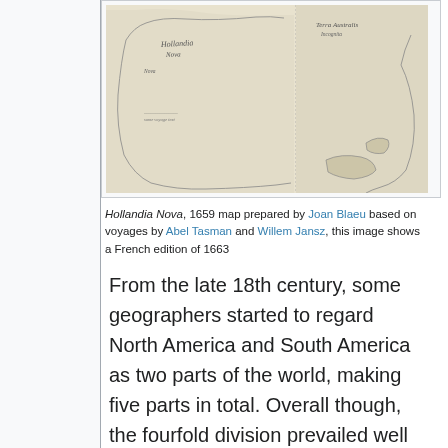[Figure (map): Hollandia Nova, 1659 map prepared by Joan Blaeu based on voyages by Abel Tasman and Willem Jansz, showing early map of Australia region, French edition of 1663]
Hollandia Nova, 1659 map prepared by Joan Blaeu based on voyages by Abel Tasman and Willem Jansz, this image shows a French edition of 1663
From the late 18th century, some geographers started to regard North America and South America as two parts of the world, making five parts in total. Overall though, the fourfold division prevailed well into the 19th century.
Europeans discovered Australia in 1606, but for some time it was taken as part of Asia. By the late 18th century, some geographers considered it a continent in